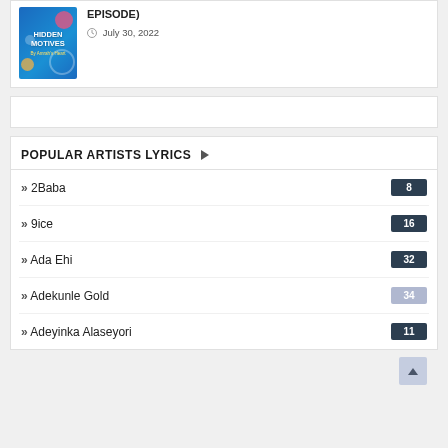[Figure (illustration): Book cover for 'Hidden Motives' by Amrah's Heart, blue background with colorful circles/bubbles]
EPISODE)
July 30, 2022
POPULAR ARTISTS LYRICS
2Baba 8
9ice 16
Ada Ehi 32
Adekunle Gold 34
Adeyinka Alaseyori 11